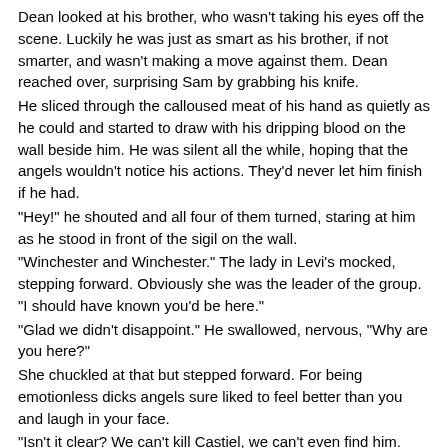Dean looked at his brother, who wasn't taking his eyes off the scene. Luckily he was just as smart as his brother, if not smarter, and wasn't making a move against them. Dean reached over, surprising Sam by grabbing his knife.
He sliced through the calloused meat of his hand as quietly as he could and started to draw with his dripping blood on the wall beside him. He was silent all the while, hoping that the angels wouldn't notice his actions. They'd never let him finish if he had.
"Hey!" he shouted and all four of them turned, staring at him as he stood in front of the sigil on the wall.
"Winchester and Winchester." The lady in Levi's mocked, stepping forward. Obviously she was the leader of the group. "I should have known you'd be here."
"Glad we didn't disappoint." He swallowed, nervous, "Why are you here?"
She chuckled at that but stepped forward. For being emotionless dicks angels sure liked to feel better than you and laugh in your face.
"Isn't it clear? We can't kill Castiel, we can't even find him. Here though, here he can't stop us, not really, and we can kill his vessel. He'll never even be born. Castiel will never make it down to Earth and he'll never stop you from saying yes."
Of course. That's what it all came down to, him saying yes.
"Who ARE?" he was still speaking. "Who said that?"